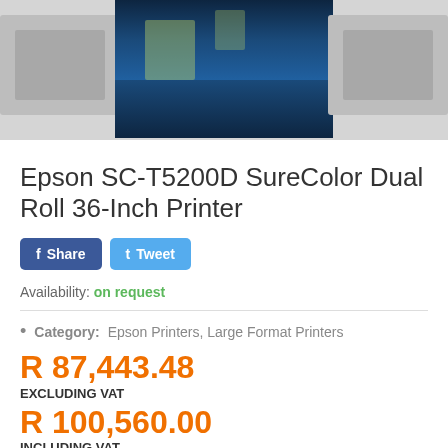[Figure (photo): Epson SC-T5200D SureColor Dual Roll 36-Inch Printer product image showing the printer with extended arms and a nighttime cityscape photo loaded.]
Epson SC-T5200D SureColor Dual Roll 36-Inch Printer
Share | Tweet (social share buttons)
Availability: on request
Category: Epson Printers, Large Format Printers
R 87,443.48
EXCLUDING VAT
R 100,560.00
INCLUDING VAT
Get credit on selected items through: